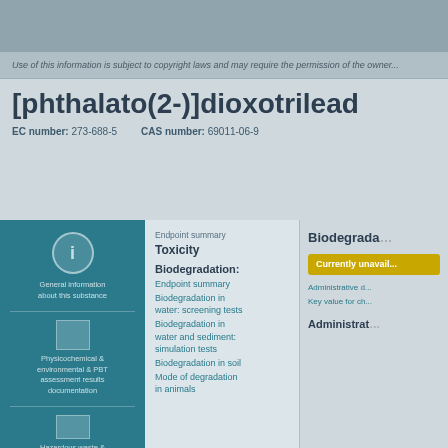Use of this information is subject to copyright laws and may require the permission...
[phthalato(2-)]dioxotrilead
EC number: 273-688-5   CAS number: 69011-06-9
Endpoint summary
Toxicity
Biodegradation:
Endpoint summary
Biodegradation in water: screening tests
Biodegradation in water and sediment: simulation tests
Biodegradation in soil
Mode of degradation in animals
Biodegradation
Currently unavail...
Administrative d...
Key value for ch...
Administration...